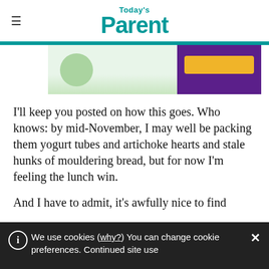Today's Parent
[Figure (photo): Partial image of a child and a purple promotional banner with a yellow button, cropped at the top of the article]
I'll keep you posted on how this goes. Who knows: by mid-November, I may well be packing them yogurt tubes and artichoke hearts and stale hunks of mouldering bread, but for now I'm feeling the lunch win.
And I have to admit, it's awfully nice to find
We use cookies (why?) You can change cookie preferences. Continued site use